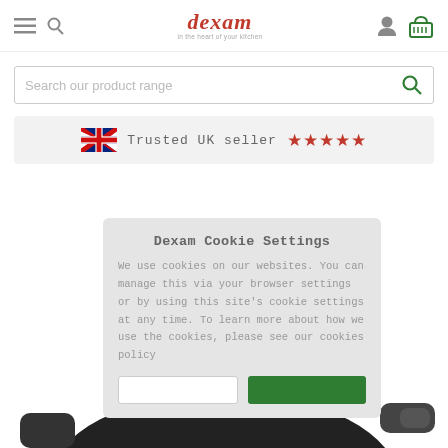[Figure (logo): Dexam brand logo with tagline 'in the heart of your kitchen']
[Figure (screenshot): Search bar with placeholder 'Search our product range' and green search button]
Trusted UK seller ★★★★★
Dexam Cookie Settings
We use cookies on our websites. You can manage this via your browser settings or by using this site's cookie settings at any time. To learn more about how we use the cookies, please see our cookies policy
[Figure (photo): Partial view of a black cast iron pan with handle visible at bottom of page]